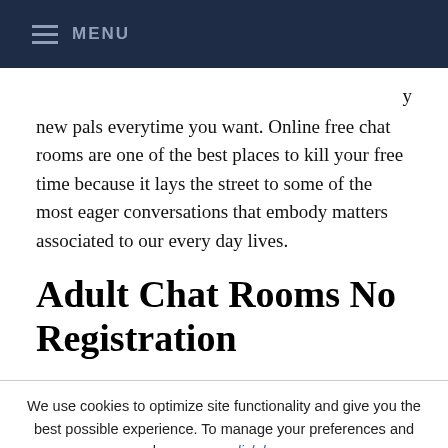≡ MENU
new pals everytime you want. Online free chat rooms are one of the best places to kill your free time because it lays the street to some of the most eager conversations that embody matters associated to our every day lives.
Adult Chat Rooms No Registration
We use cookies to optimize site functionality and give you the best possible experience. To manage your preferences and learn more, click here. By continuing to use our site, you consent to the use of cookies in according with our po
[Figure (other): Language selector widget showing UK flag and English label with right arrow]